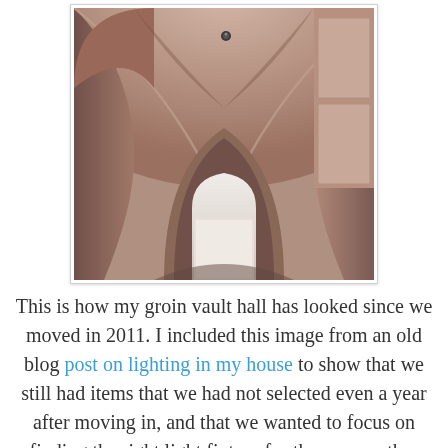[Figure (photo): Interior photograph of a groin vault hallway ceiling, showing curved arched vaulted ceiling in warm beige/tan tones, with a small ceiling light fixture visible at the top center. The hallway recedes toward a bright doorway in the background. Walls are paneled with white trim.]
This is how my groin vault hall has looked since we moved in 2011. I included this image from an old blog post on lighting in my house to show that we still had items that we had not selected even a year after moving in, and that we wanted to focus on finding the right light fixture for the space rather than just picking